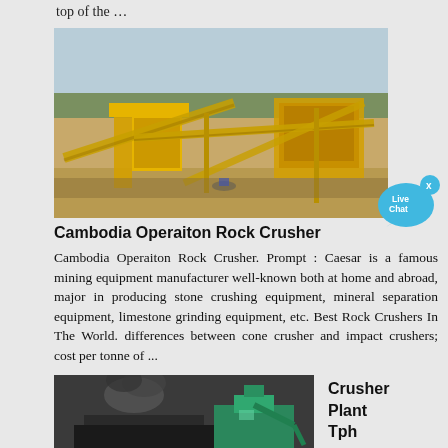top of the …
[Figure (photo): Aerial view of a yellow rock crushing plant with conveyor belts on open terrain]
[Figure (infographic): Live Chat speech bubble button in cyan/blue]
Cambodia Operaiton Rock Crusher
Cambodia Operaiton Rock Crusher. Prompt : Caesar is a famous mining equipment manufacturer well-known both at home and abroad, major in producing stone crushing equipment, mineral separation equipment, limestone grinding equipment, etc. Best Rock Crushers In The World. differences between cone crusher and impact crushers; cost per tonne of ...
[Figure (photo): Industrial crusher plant with dark smoke and cyan/green machinery]
Crusher Plant Tph